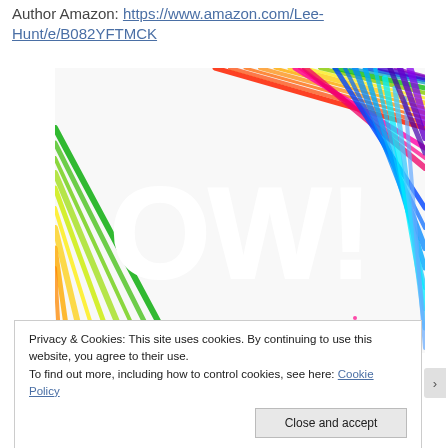Author Amazon: https://www.amazon.com/Lee-Hunt/e/B082YFTMCK
[Figure (illustration): Book cover with colorful rainbow crayon scribble background and large white bold text reading 'OW!']
Privacy & Cookies: This site uses cookies. By continuing to use this website, you agree to their use.
To find out more, including how to control cookies, see here: Cookie Policy